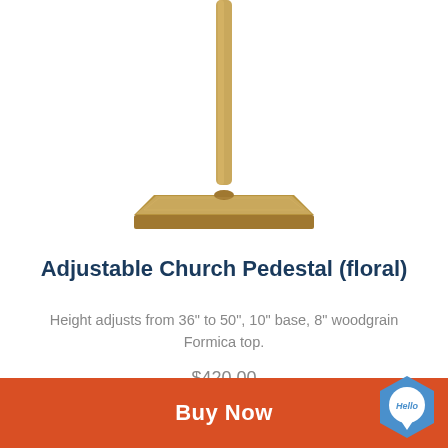[Figure (photo): Gold/brass adjustable church pedestal with a square base and thin vertical pole, shown on white background (top cropped)]
Adjustable Church Pedestal (floral)
Height adjusts from 36" to 50", 10" base, 8" woodgrain Formica top.
$420.00
Buy Now